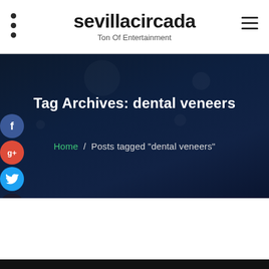sevillacircada – Ton Of Entertainment
Tag Archives: dental veneers
Home / Posts tagged "dental veneers"